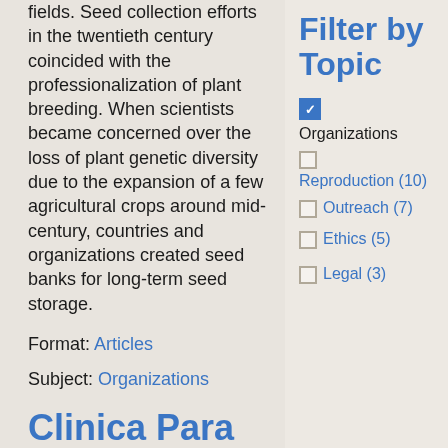fields. Seed collection efforts in the twentieth century coincided with the professionalization of plant breeding. When scientists became concerned over the loss of plant genetic diversity due to the expansion of a few agricultural crops around mid-century, countries and organizations created seed banks for long-term seed storage.
Format: Articles
Subject: Organizations
Filter by Topic
Organizations (checked)
Reproduction (10)
Outreach (7)
Ethics (5)
Legal (3)
Clinica Para